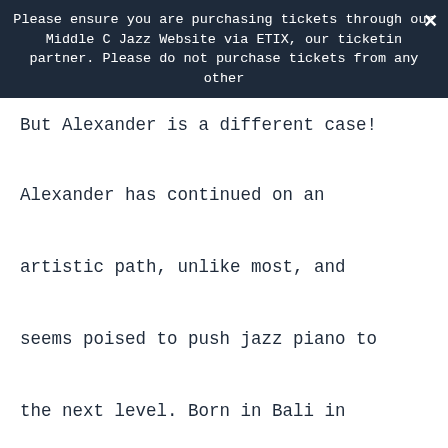Please ensure you are purchasing tickets through our Middle C Jazz Website via ETIX, our ticketing partner. Please do not purchase tickets from any other
But Alexander is a different case!

Alexander has continued on an artistic path, unlike most, and seems poised to push jazz piano to the next level. Born in Bali in 2003, then spending his younger years in Jakarta before moving to the US in 2014 at the age of eleven, Alexander has pretty much dedicated his life to his